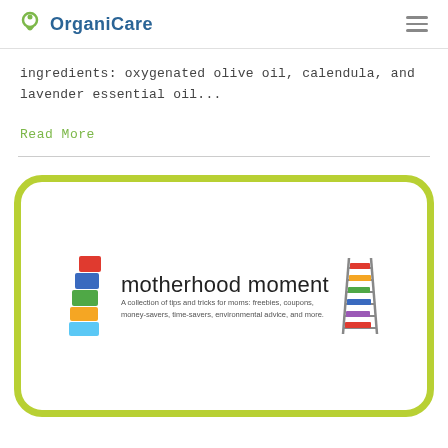OrganiCare
ingredients: oxygenated olive oil, calendula, and lavender essential oil...
Read More
[Figure (logo): Motherhood Moment logo banner with stacked colorful blocks on the left, the text 'motherhood moment' in large font, a subtitle reading 'A collection of tips and tricks for moms: freebies, coupons, money-savers, time-savers, environmental advice, and more.', and a ladder with colorful books on the right.]